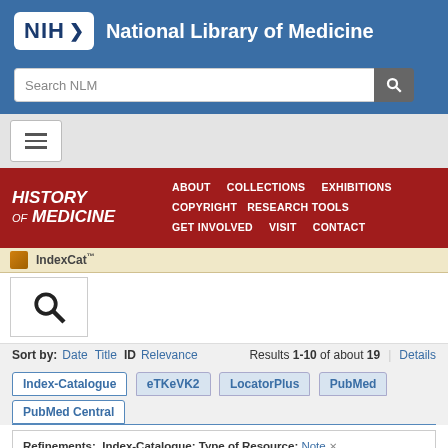NIH National Library of Medicine
[Figure (screenshot): NIH NLM website header with logo, search bar, hamburger menu, History of Medicine navigation bar, IndexCat search interface, sort/filter controls, database tabs (Index-Catalogue, eTKeVK2, LocatorPlus, PubMed, PubMed Central), and refinements panel showing: Index-Catalogue Type of Resource: Note, Index-Catalogue Library of the Surgeon-General's Office 1880-1961: Series 4 1936- Volume 011 Page 1348]
Sort by: Date Title ID Relevance | Results 1-10 of about 19 | Details
Refinements: Index-Catalogue: Type of Resource: Note × Index-Catalogue, Library of the Surgeon-General's Office 1880-1961: Series 4, 1936- > Volume 011 × > Page 1348 ×